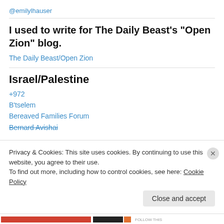@emilylhauser
I used to write for The Daily Beast's "Open Zion" blog.
The Daily Beast/Open Zion
Israel/Palestine
+972
B'tselem
Bereaved Families Forum
Bernard Avishai
Privacy & Cookies: This site uses cookies. By continuing to use this website, you agree to their use.
To find out more, including how to control cookies, see here: Cookie Policy
Close and accept